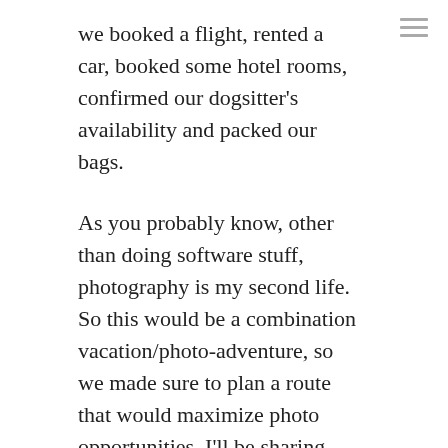we booked a flight, rented a car, booked some hotel rooms, confirmed our dogsitter's availability and packed our bags.
As you probably know, other than doing software stuff, photography is my second life. So this would be a combination vacation/photo-adventure, so we made sure to plan a route that would maximize photo opportunities. I'll be sharing photos from this journey for a long time on my daily photo site, 75CentralPhotography, so be sure to follow me there (I'd keep an eye on the Oregon and California categories).
However, this site isn't geared towards sharing my photography, but more about